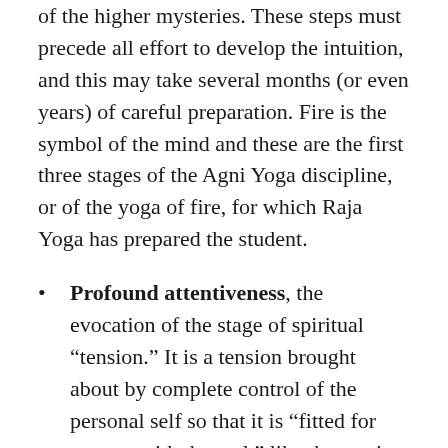of the higher mysteries. These steps must precede all effort to develop the intuition, and this may take several months (or even years) of careful preparation. Fire is the symbol of the mind and these are the first three stages of the Agni Yoga discipline, or of the yoga of fire, for which Raja Yoga has prepared the student.
Profound attentiveness, the evocation of the stage of spiritual “tension.” It is a tension brought about by complete control of the personal self so that it is “fitted for contact with the real,” like the tension of a taut string attuned to a musical note ready to resonate at a certain frequency.
Adaptability of the Soul-infused Personality.